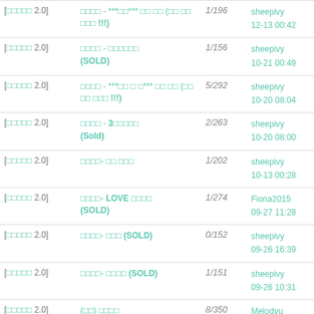| Category | Title | Count | User/Date |
| --- | --- | --- | --- |
| [□□□□□ 2.0] | □□□□ - ***□□*** □□ □□ (□□ □□ □□□ !!!) | 1/196 | sheepivy
12-13 00:42 |
| [□□□□□ 2.0] | □□□□ - □□□□□□
(SOLD) | 1/156 | sheepivy
10-21 00:49 |
| [□□□□□ 2.0] | □□□□ - ***□□ □ □*** □□ □□ (□□ □□ □□□ !!!) | 5/292 | sheepivy
10-20 08:04 |
| [□□□□□ 2.0] | □□□□ - 3□□□□□
(Sold) | 2/263 | sheepivy
10-20 08:00 |
| [□□□□□ 2.0] | □□□□- □□ □□□ | 1/202 | sheepivy
10-13 00:28 |
| [□□□□□ 2.0] | □□□□- LOVE □□□□
(SOLD) | 1/274 | Fiona2015
09-27 11:28 |
| [□□□□□ 2.0] | □□□□- □□□ (SOLD) | 0/152 | sheepivy
09-26 16:39 |
| [□□□□□ 2.0] | □□□□- □□□□ (SOLD) | 1/151 | sheepivy
09-26 10:31 |
| [□□□□□ 2.0] | (□□) □□□□
(updated on 12/09/2015) | 8/350 | Melodyu
08-29 14:54 |
| [□□□□□ 2.0] | □□ -- □□□□
(UPDATED on 09/09/2015) | 0/350 | sheepivy
08-22 09:57 |